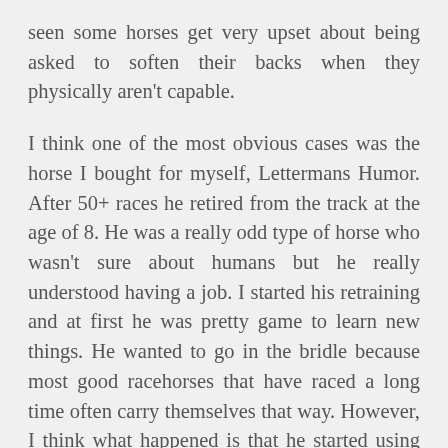seen some horses get very upset about being asked to soften their backs when they physically aren't capable.

I think one of the most obvious cases was the horse I bought for myself, Lettermans Humor. After 50+ races he retired from the track at the age of 8. He was a really odd type of horse who wasn't sure about humans but he really understood having a job. I started his retraining and at first he was pretty game to learn new things. He wanted to go in the bridle because most good racehorses that have raced a long time often carry themselves that way. However, I think what happened is that he started using muscles he didn't know he had and he got PISSSED. He had spent years going a certain way and now I was asking him to bend, soften and use his body and he thought it was really hard and he was sore all over.

You start doing the investigative work. He had xrays of his feet, ankles and knees and they were very clean so